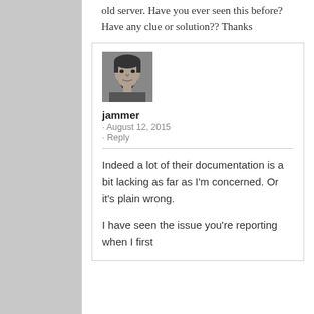old server. Have you ever seen this before? Have any clue or solution?? Thanks
[Figure (photo): Black and white avatar photo of a man with beard]
jammer
· August 12, 2015
· Reply
Indeed a lot of their documentation is a bit lacking as far as I'm concerned. Or it's plain wrong.
I have seen the issue you're reporting when I first